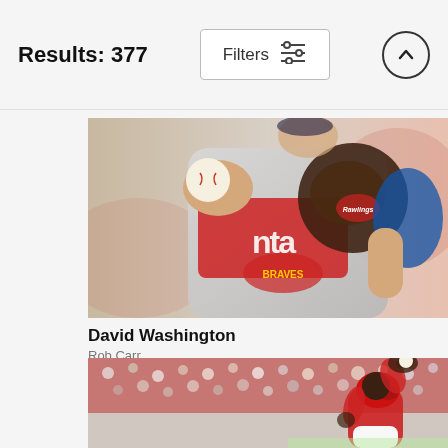Results: 377
[Figure (photo): Atlanta Braves baseball pitcher in gray uniform winding up to throw, holding a Rawlings glove, photographed close-up]
David Washington
Rob Carr
$9.62
[Figure (photo): Baseball player in red uniform catching or fielding a ball, stadium crowd visible in background]